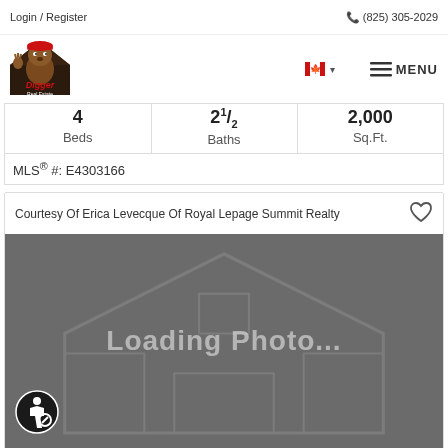Login / Register   (825) 305-2029
[Figure (logo): Digger Real Estate mascot logo — cartoon beaver wearing a hard hat]
|  |  |  |
| --- | --- | --- |
| 4 Beds | 2 1/2 Baths | 2,000 Sq.Ft. |
MLS® #: E4303166
Courtesy Of Erica Levecque Of Royal Lepage Summit Realty
[Figure (photo): Loading Photo... placeholder with grey background and house outline watermark]